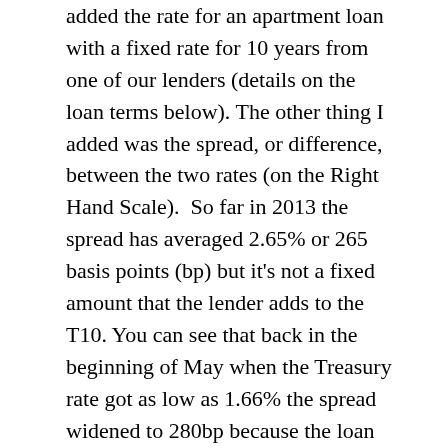added the rate for an apartment loan with a fixed rate for 10 years from one of our lenders (details on the loan terms below). The other thing I added was the spread, or difference, between the two rates (on the Right Hand Scale).  So far in 2013 the spread has averaged 2.65% or 265 basis points (bp) but it's not a fixed amount that the lender adds to the T10. You can see that back in the beginning of May when the Treasury rate got as low as 1.66% the spread widened to 280bp because the loan rate was left at 4.5%. Then the spread narrowed back towards the average even while interest rates went up from there.
Then the Fed meeting notes came out in the middle of June and the T10 shot up but we got a double dose because the spread jumped up too. The Treasury went from 2.19% on the 17th to 2.57% on the 24th, and the spread jumped from 262pb to 283. It makes